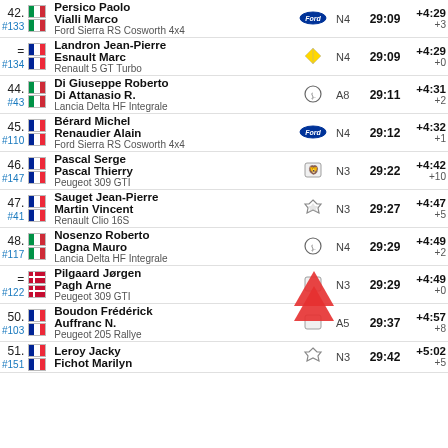| Pos | # | Flag | Driver | Logo | Class | Time | Gap |
| --- | --- | --- | --- | --- | --- | --- | --- |
| 42 | #133 | IT | Persico Paolo / Vialli Marco | Ford | N4 | 29:09 | +4:29 +3 |
| = | #134 | FR | Landron Jean-Pierre / Esnault Marc | Renault | N4 | 29:09 | +4:29 +0 |
| 44 | #43 | IT | Di Giuseppe Roberto / Di Attanasio R. | Lancia | A8 | 29:11 | +4:31 +2 |
| 45 | #110 | FR | Bérard Michel / Renaudier Alain | Ford | N4 | 29:12 | +4:32 +1 |
| 46 | #147 | FR | Pascal Serge / Pascal Thierry | Peugeot | N3 | 29:22 | +4:42 +10 |
| 47 | #41 | FR | Sauget Jean-Pierre / Martin Vincent | Renault | N3 | 29:27 | +4:47 +5 |
| 48 | #117 | IT | Nosenzo Roberto / Dagna Mauro | Lancia | N4 | 29:29 | +4:49 +2 |
| = | #122 | DK | Pilgaard Jørgen / Pagh Arne | Peugeot | N3 | 29:29 | +4:49 +0 |
| 50 | #103 | FR | Boudon Frédérick / Auffranc N. | Peugeot | A5 | 29:37 | +4:57 +8 |
| 51 | #151 | FR | Leroy Jacky / Fichot Marilyn | Renault | N3 | 29:42 | +5:02 +5 |